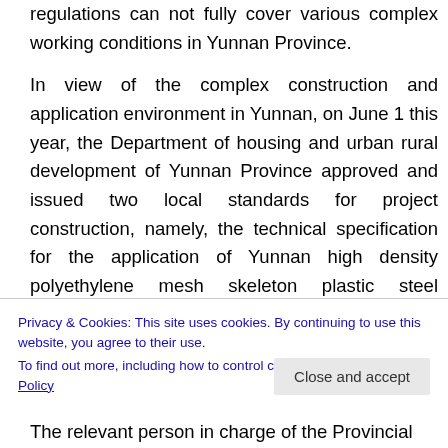regulations can not fully cover various complex working conditions in Yunnan Province.
In view of the complex construction and application environment in Yunnan, on June 1 this year, the Department of housing and urban rural development of Yunnan Province approved and issued two local standards for project construction, namely, the technical specification for the application of Yunnan high density polyethylene mesh skeleton plastic steel composite steady-state pipe and the
Privacy & Cookies: This site uses cookies. By continuing to use this website, you agree to their use.
To find out more, including how to control cookies, see here: Cookie Policy
The relevant person in charge of the Provincial